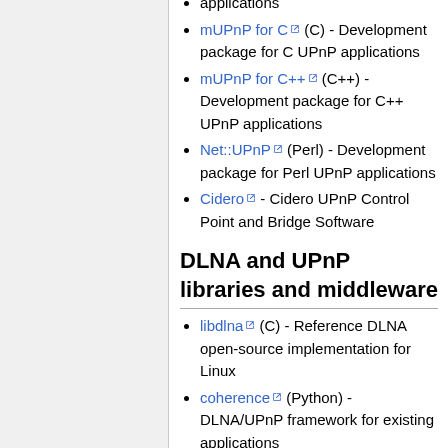applications
mUPnP for C (C) - Development package for C UPnP applications
mUPnP for C++ (C++) - Development package for C++ UPnP applications
Net::UPnP (Perl) - Development package for Perl UPnP applications
Cidero - Cidero UPnP Control Point and Bridge Software
DLNA and UPnP libraries and middleware
libdlna (C) - Reference DLNA open-source implementation for Linux
coherence (Python) - DLNA/UPnP framework for existing applications
Building bridges - coherence, a